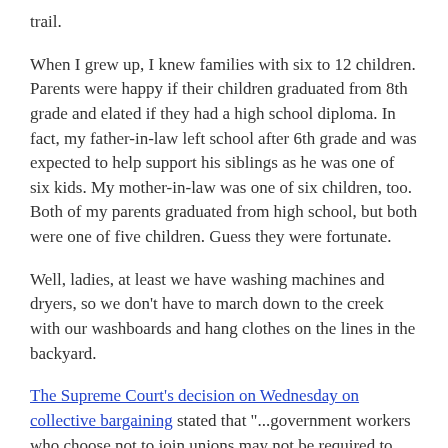trail.
When I grew up, I knew families with six to 12 children. Parents were happy if their children graduated from 8th grade and elated if they had a high school diploma. In fact, my father-in-law left school after 6th grade and was expected to help support his siblings as he was one of six kids. My mother-in-law was one of six children, too. Both of my parents graduated from high school, but both were one of five children. Guess they were fortunate.
Well, ladies, at least we have washing machines and dryers, so we don't have to march down to the creek with our washboards and hang clothes on the lines in the backyard.
The Supreme Court's decision on Wednesday on collective bargaining stated that "...government workers who choose not to join unions may not be required to help pay